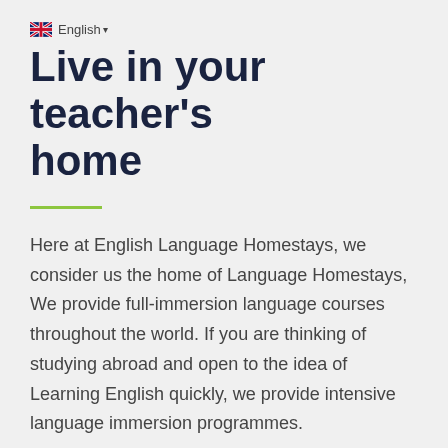🇬🇧 English ▾
Live in your teacher's home
Here at English Language Homestays, we consider us the home of Language Homestays, We provide full-immersion language courses throughout the world. If you are thinking of studying abroad and open to the idea of Learning English quickly, we provide intensive language immersion programmes.